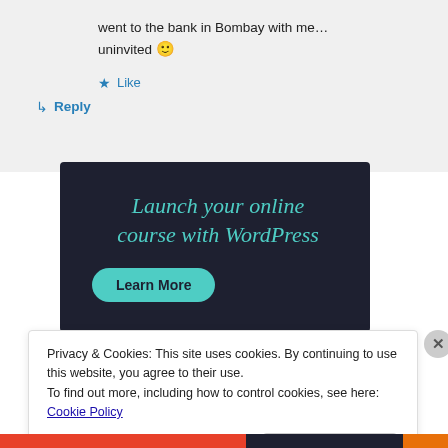went to the bank in Bombay with me... uninvited 🙂
★ Like
↳ Reply
[Figure (infographic): Dark navy advertisement banner: 'Launch your online course with WordPress' with a teal 'Learn More' button]
Privacy & Cookies: This site uses cookies. By continuing to use this website, you agree to their use.
To find out more, including how to control cookies, see here: Cookie Policy
Close and accept